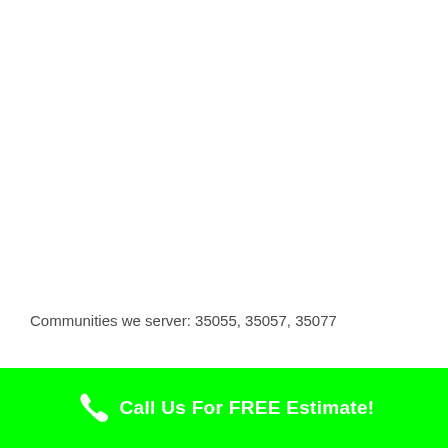Communities we server: 35055, 35057, 35077
Search Tools: Good Hope, AL customers have found us by searching: Residential Snow Removal in Good Hope Alabama,
Call Us For FREE Estimate!